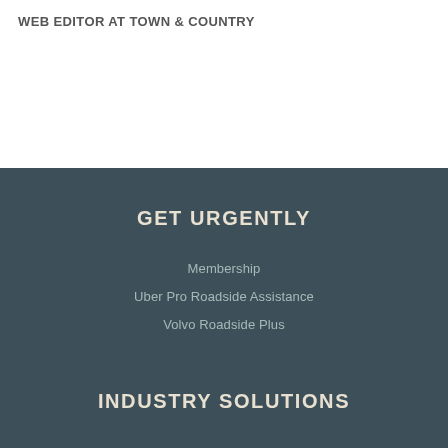WEB EDITOR AT TOWN & COUNTRY
GET URGENTLY
Membership
Uber Pro Roadside Assistance
Volvo Roadside Plus
INDUSTRY SOLUTIONS